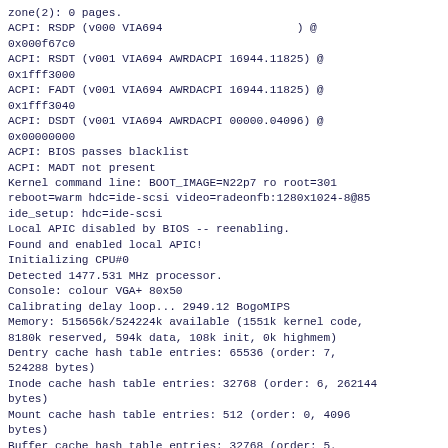zone(2): 0 pages.
ACPI: RSDP (v000 VIA694                    ) @ 0x000f67c0
ACPI: RSDT (v001 VIA694 AWRDACPI 16944.11825) @ 0x1fff3000
ACPI: FADT (v001 VIA694 AWRDACPI 16944.11825) @ 0x1fff3040
ACPI: DSDT (v001 VIA694 AWRDACPI 00000.04096) @ 0x00000000
ACPI: BIOS passes blacklist
ACPI: MADT not present
Kernel command line: BOOT_IMAGE=N22p7 ro root=301 reboot=warm hdc=ide-scsi video=radeonfb:1280x1024-8@85
ide_setup: hdc=ide-scsi
Local APIC disabled by BIOS -- reenabling.
Found and enabled local APIC!
Initializing CPU#0
Detected 1477.531 MHz processor.
Console: colour VGA+ 80x50
Calibrating delay loop... 2949.12 BogoMIPS
Memory: 515656k/524224k available (1551k kernel code, 8180k reserved, 594k data, 108k init, 0k highmem)
Dentry cache hash table entries: 65536 (order: 7, 524288 bytes)
Inode cache hash table entries: 32768 (order: 6, 262144 bytes)
Mount cache hash table entries: 512 (order: 0, 4096 bytes)
Buffer cache hash table entries: 32768 (order: 5, 131072 bytes)